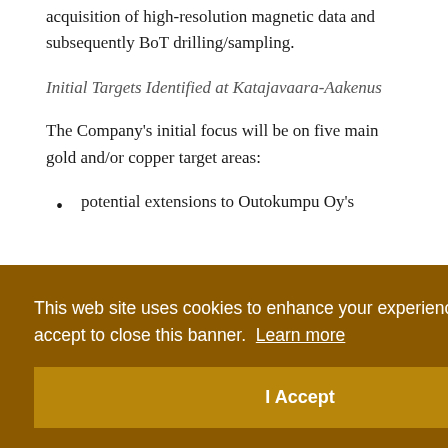acquisition of high-resolution magnetic data and subsequently BoT drilling/sampling.
Initial Targets Identified at Katajavaara-Aakenus
The Company's initial focus will be on five main gold and/or copper target areas:
potential extensions to Outokumpu Oy's
This web site uses cookies to enhance your experience. Please accept to close this banner. Learn more
I Accept
Outokumpu in the early-1980's, with the Finnish